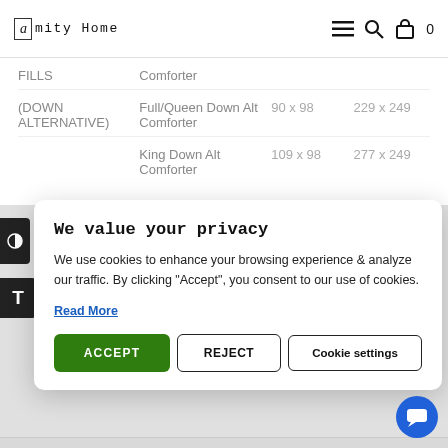Amity Home
| Category | Type | Inches | cm |
| --- | --- | --- | --- |
| FILLS | Comforter |  |  |
| (DOWN ALTERNATIVE) | Full/Queen Down Alt Comforter | 90 x 98 | 229 x 249 |
|  | King Down Alt Comforter | 109 x 98 | 277 x 249 |
We value your privacy
We use cookies to enhance your browsing experience & analyze our traffic. By clicking "Accept", you consent to our use of cookies.
Read More
ACCEPT
REJECT
Cookie settings